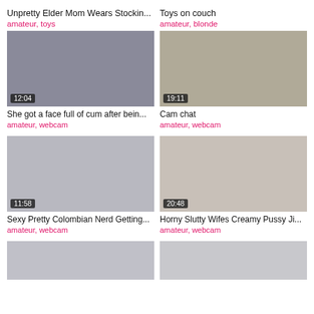Unpretty Elder Mom Wears Stockin...
amateur, toys
Toys on couch
amateur, blonde
[Figure (photo): Video thumbnail with duration 12:04]
[Figure (photo): Video thumbnail with duration 19:11]
She got a face full of cum after bein...
amateur, webcam
Cam chat
amateur, webcam
[Figure (photo): Video thumbnail with duration 11:58]
[Figure (photo): Video thumbnail with duration 20:48]
Sexy Pretty Colombian Nerd Getting...
amateur, webcam
Horny Slutty Wifes Creamy Pussy Ji...
amateur, webcam